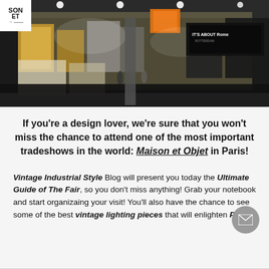[Figure (photo): Aerial view of a large trade show floor with many exhibition booths, people walking around, signage including 'Maison et Objet' branding in top-left corner, colorful displays and product stands throughout.]
If you're a design lover, we're sure that you won't miss the chance to attend one of the most important tradeshows in the world: Maison et Objet in Paris!
Vintage Industrial Style Blog will present you today the Ultimate Guide of The Fair, so you don't miss anything! Grab your notebook and start organizaing your visit! You'll also have the chance to see some of the best vintage lighting pieces that will enlighten Paris!